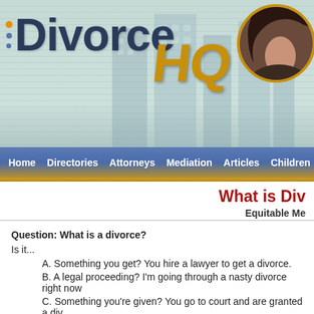[Figure (logo): DivorceHQ website logo with blue Divorce text and gold HQ lettering, building graphic background, circle photo of woman]
Home | Directories | Attorneys | Mediation | Articles | Children
What is Div...
Equitable Me...
Question: What is a divorce?
Is it...
A. Something you get? You hire a lawyer to get a divorce.
B. A legal proceeding? I'm going through a nasty divorce right now
C. Something you're given? You go to court and are granted a div...
D. All of the above.
Got your answer? Good. Now let's see if you were correct.
Answer: Divorce is...
When you got married, you made vows, obtained a marriage license a...
When you did these things, a binding contract was formed about the v...